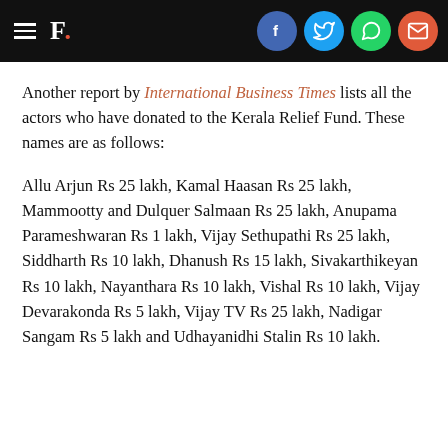F. [logo with social share icons: Facebook, Twitter, WhatsApp, Email]
Another report by International Business Times lists all the actors who have donated to the Kerala Relief Fund. These names are as follows:
Allu Arjun Rs 25 lakh, Kamal Haasan Rs 25 lakh, Mammootty and Dulquer Salmaan Rs 25 lakh, Anupama Parameshwaran Rs 1 lakh, Vijay Sethupathi Rs 25 lakh, Siddharth Rs 10 lakh, Dhanush Rs 15 lakh, Sivakarthikeyan Rs 10 lakh, Nayanthara Rs 10 lakh, Vishal Rs 10 lakh, Vijay Devarakonda Rs 5 lakh, Vijay TV Rs 25 lakh, Nadigar Sangam Rs 5 lakh and Udhayanidhi Stalin Rs 10 lakh.